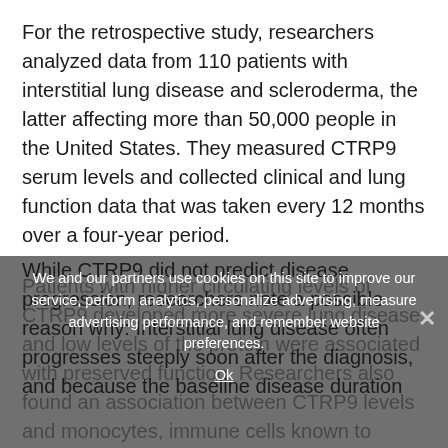For the retrospective study, researchers analyzed data from 110 patients with interstitial lung disease and scleroderma, the latter affecting more than 50,000 people in the United States. They measured CTRP9 serum levels and collected clinical and lung function data that was taken every 12 months over a four-year period.
Patients with higher circulating levels of CTRP9 developed more severe lung disease, and low levels of the protein were associated with preserved function. Researchers also found an association between CTRP9 levels and monocytes, immune cells known to contribute to lung fibrosis.
While CTRP9 did not predict disease progression, researchers note a possible reason why: Interstitial lung disease often progresses steeply soon after the diagnosis, and because the baseline disease duration
We and our partners use cookies on this site to improve our service, perform analytics, personalize advertising, measure advertising performance, and remember website preferences.